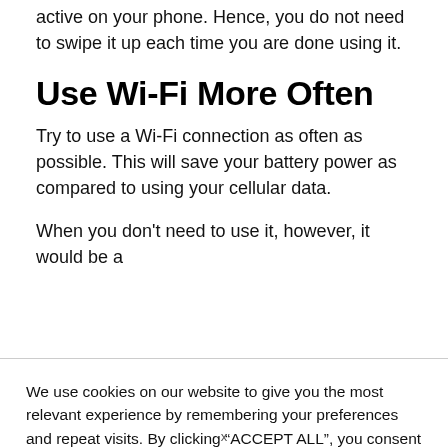active on your phone. Hence, you do not need to swipe it up each time you are done using it.
Use Wi-Fi More Often
Try to use a Wi-Fi connection as often as possible. This will save your battery power as compared to using your cellular data.
When you don’t need to use it, however, it would be a
We use cookies on our website to give you the most relevant experience by remembering your preferences and repeat visits. By clicking “ACCEPT ALL”, you consent to the use of ALL the cookies. However, you may visit "Cookie Settings" to provide a controlled consent.
x